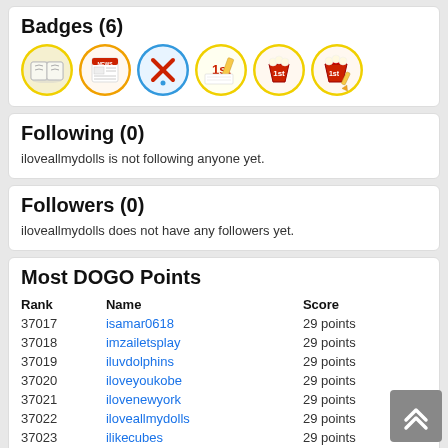Badges (6)
[Figure (illustration): Six circular badge icons in a row: book badge (yellow border), newspaper badge (yellow border), question mark badge (blue border), 1st place pencil badge (yellow border), popcorn/movie badge (yellow border), popcorn/movie with pencil badge (yellow border)]
Following (0)
iloveallmydolls is not following anyone yet.
Followers (0)
iloveallmydolls does not have any followers yet.
Most DOGO Points
| Rank | Name | Score |
| --- | --- | --- |
| 37017 | isamar0618 | 29 points |
| 37018 | imzailetsplay | 29 points |
| 37019 | iluvdolphins | 29 points |
| 37020 | iloveyoukobe | 29 points |
| 37021 | ilovenewyork | 29 points |
| 37022 | iloveallmydolls | 29 points |
| 37023 | ilikecubes | 29 points |
| 37024 | ilanrap25 | 29 points |